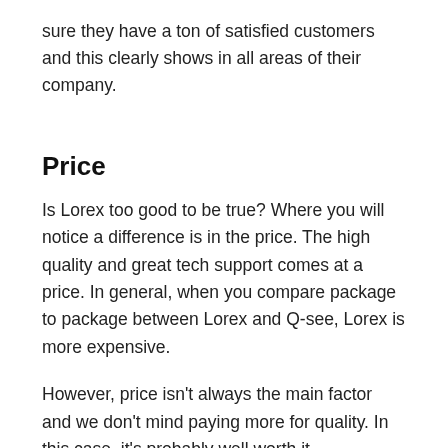sure they have a ton of satisfied customers and this clearly shows in all areas of their company.
Price
Is Lorex too good to be true? Where you will notice a difference is in the price. The high quality and great tech support comes at a price. In general, when you compare package to package between Lorex and Q-see, Lorex is more expensive.
However, price isn't always the main factor and we don't mind paying more for quality. In this case, it's probably well worth it.